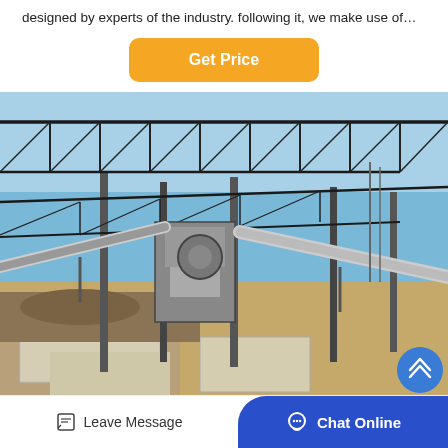designed by experts of the industry. following it, we make use of…
[Figure (other): Orange 'Get Price' button with rounded corners]
[Figure (photo): Industrial quarry or mining plant with steel truss frame structure, conveyor belts, machinery, and construction/excavation area under blue sky]
Leave Message
Chat Online